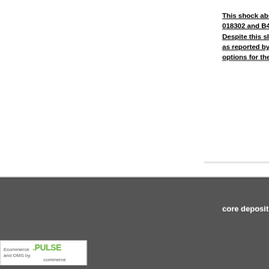This shock absorber supersedes part numbers B46-018302 and B46-18... Despite this slight difference, as reported by many customers, it is one of the best options for the rear...
[Figure (photo): Rear shock absorber product image showing a black shock absorber with mounting hardware]
Rear Shock Absorb...
MFG: Vaico
Recommended for ...
Less expensive alter...
core deposit | warranty i...
[Figure (logo): MasterCard logo - red and orange overlapping circles]
[Figure (logo): USPS postal service logo]
[Figure (logo): Ecommerce and OMS by .PULSE commerce logo]